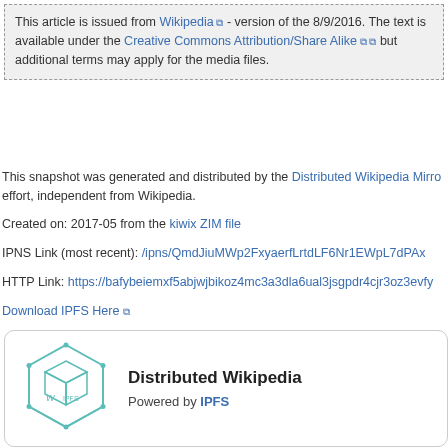This article is issued from Wikipedia - version of the 8/9/2016. The text is available under the Creative Commons Attribution/Share Alike but additional terms may apply for the media files.
This snapshot was generated and distributed by the Distributed Wikipedia Mirror effort, independent from Wikipedia.
Created on: 2017-05 from the kiwix ZIM file
IPNS Link (most recent): /ipns/QmdJiuMWp2FxyaerfLrtdLF6Nr1EWpL7dPAx
HTTP Link: https://bafybeiemxf5abjwjbikoz4mc3a3dla6ual3jsgpdr4cjr3oz3evfy
Download IPFS Here
[Figure (logo): Distributed Wikipedia Powered by IPFS logo card with teal hexagonal IPFS cube icon on the left and text 'Distributed Wikipedia' and 'Powered by IPFS' on the right.]